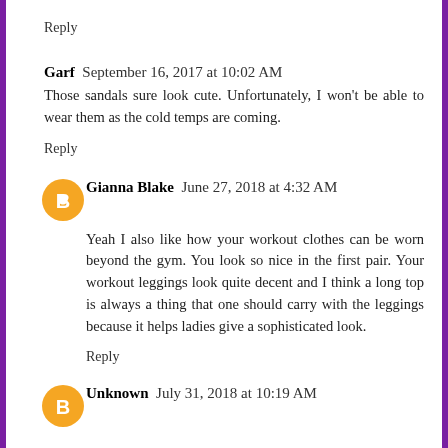Reply
Garf  September 16, 2017 at 10:02 AM
Those sandals sure look cute. Unfortunately, I won't be able to wear them as the cold temps are coming.
Reply
Gianna Blake  June 27, 2018 at 4:32 AM
Yeah I also like how your workout clothes can be worn beyond the gym. You look so nice in the first pair. Your workout leggings look quite decent and I think a long top is always a thing that one should carry with the leggings because it helps ladies give a sophisticated look.
Reply
Unknown  July 31, 2018 at 10:19 AM